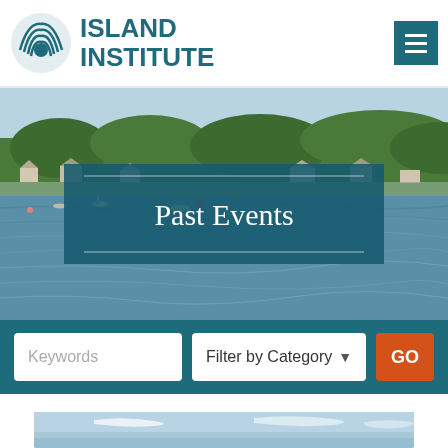ISLAND INSTITUTE
[Figure (photo): Coastal harbor scene with water, boats, and forested shoreline with houses; hero banner overlay reading 'Past Events']
Past Events
Keywords | Filter by Category | GO
[Figure (photo): Partial view of blue sky with faint clouds — bottom thumbnail image]